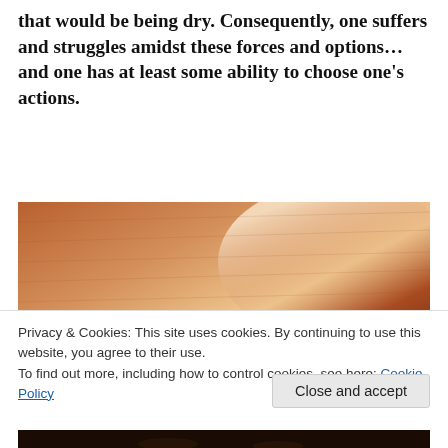that would be being dry. Consequently, one suffers and struggles amidst these forces and options…and one has at least some ability to choose one's actions.
[Figure (photo): A person viewed from above against a warm-toned reddish-brown textured background, possibly a wheat field or sand]
Privacy & Cookies: This site uses cookies. By continuing to use this website, you agree to their use.
To find out more, including how to control cookies, see here: Cookie Policy
[Figure (photo): Partial view of a dark scene at the bottom of the page]